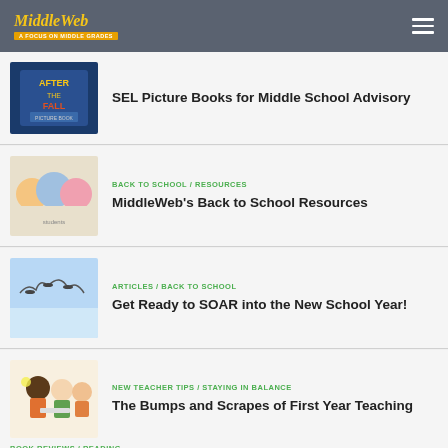MiddleWeb
[Figure (photo): Book cover: After the Fall]
SEL Picture Books for Middle School Advisory
[Figure (photo): Group of middle school students smiling]
BACK TO SCHOOL / RESOURCES
MiddleWeb's Back to School Resources
[Figure (photo): Birds flying in blue sky]
ARTICLES / BACK TO SCHOOL
Get Ready to SOAR into the New School Year!
[Figure (illustration): Teacher and students illustration]
NEW TEACHER TIPS / STAYING IN BALANCE
The Bumps and Scrapes of First Year Teaching
BOOK REVIEWS / READING